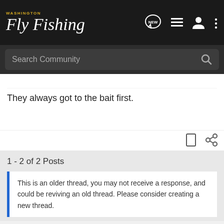Washington Fly Fishing
They always got to the bait first.
1 - 2 of 2 Posts
This is an older thread, you may not receive a response, and could be reviving an old thread. Please consider creating a new thread.
Join the discussion